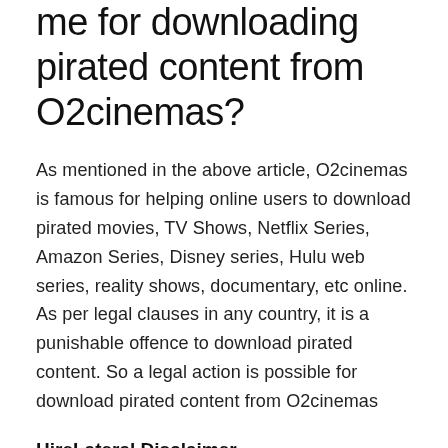me for downloading pirated content from O2cinemas?
As mentioned in the above article, O2cinemas is famous for helping online users to download pirated movies, TV Shows, Netflix Series, Amazon Series, Disney series, Hulu web series, reality shows, documentary, etc online. As per legal clauses in any country, it is a punishable offence to download pirated content. So a legal action is possible for download pirated content from O2cinemas
HireLateral Disclaimer
Hirelateral is engaged in the business of providing correct information to its users. It does not support or promote online piracy in any format. We strongly discourage...